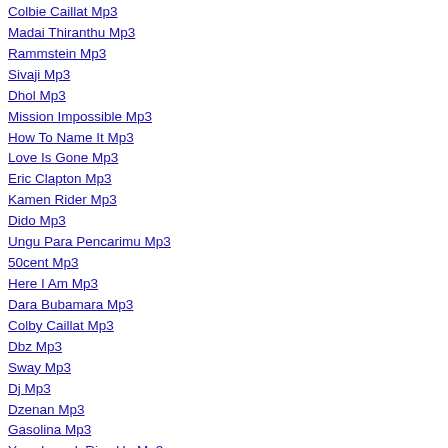Colbie Caillat Mp3
Madai Thiranthu Mp3
Rammstein Mp3
Sivaji Mp3
Dhol Mp3
Mission Impossible Mp3
How To Name It Mp3
Love Is Gone Mp3
Eric Clapton Mp3
Kamen Rider Mp3
Dido Mp3
Ungu Para Pencarimu Mp3
50cent Mp3
Here I Am Mp3
Dara Bubamara Mp3
Colby Caillat Mp3
Dbz Mp3
Sway Mp3
Dj Mp3
Dzenan Mp3
Gasolina Mp3
Yves Larock Rise Up Mp3
Canon Rock Mp3
Neverne Bebe Mp3
Hichkas Mp3